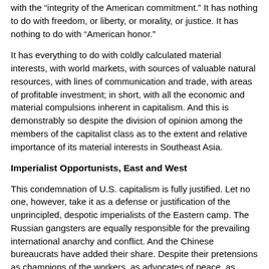with the “integrity of the American commitment.” It has nothing to do with freedom, or liberty, or morality, or justice. It has nothing to do with “American honor.”
It has everything to do with coldly calculated material interests, with world markets, with sources of valuable natural resources, with lines of communication and trade, with areas of profitable investment; in short, with all the economic and material compulsions inherent in capitalism. And this is demonstrably so despite the division of opinion among the members of the capitalist class as to the extent and relative importance of its material interests in Southeast Asia.
Imperialist Opportunists, East and West
This condemnation of U.S. capitalism is fully justified. Let no one, however, take it as a defense or justification of the unprincipled, despotic imperialists of the Eastern camp. The Russian gangsters are equally responsible for the prevailing international anarchy and conflict. And the Chinese bureaucrats have added their share. Despite their pretensions as champions of the workers, as advocates of peace, as promoters of the economic and social welfare of the “downtrodden,” as supporters of “national liberation movements,” they, too, are motivated by crass material interests. They, too, have economic stakes to defend and enlarge. They